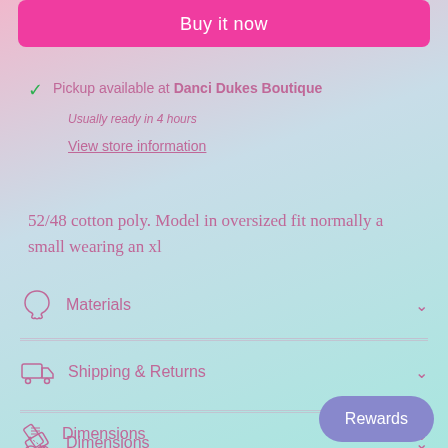Buy it now
Pickup available at Danci Dukes Boutique
Usually ready in 4 hours
View store information
52/48 cotton poly. Model in oversized fit normally a small wearing an xl
Materials
Shipping & Returns
Dimensions
Care Instructions
Rewards